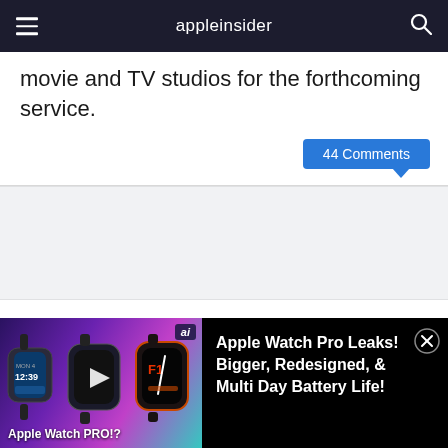appleinsider
movie and TV studios for the forthcoming service.
44 Comments
[Figure (screenshot): Light gray placeholder content box / advertisement area]
[Figure (screenshot): Apple Watch PRO video promo banner showing three Apple Watch models with text: Apple Watch Pro Leaks! Bigger, Redesigned, & Multi Day Battery Life!]